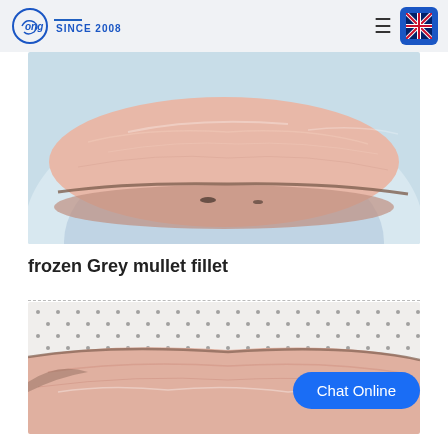Cong SINCE 2008
[Figure (photo): Close-up photo of a frozen grey mullet fillet on a blue-and-white plate, showing the pale pink flesh and skin edge.]
frozen Grey mullet fillet
[Figure (photo): Close-up photo of a frozen grey mullet fillet resting on a white mesh/net surface, showing the pale pink flesh texture with Chat Online button overlay.]